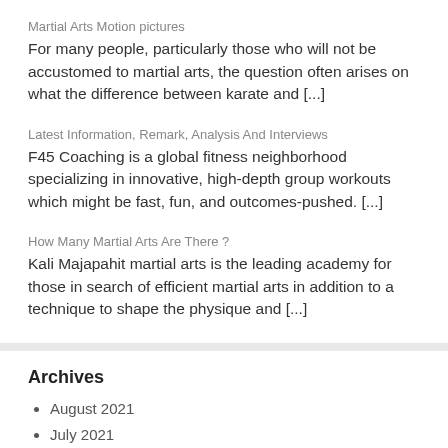Martial Arts Motion pictures
For many people, particularly those who will not be accustomed to martial arts, the question often arises on what the difference between karate and [...]
Latest Information, Remark, Analysis And Interviews
F45 Coaching is a global fitness neighborhood specializing in innovative, high-depth group workouts which might be fast, fun, and outcomes-pushed. [...]
How Many Martial Arts Are There ?
Kali Majapahit martial arts is the leading academy for those in search of efficient martial arts in addition to a technique to shape the physique and [...]
Archives
August 2021
July 2021
June 2021
May 2021